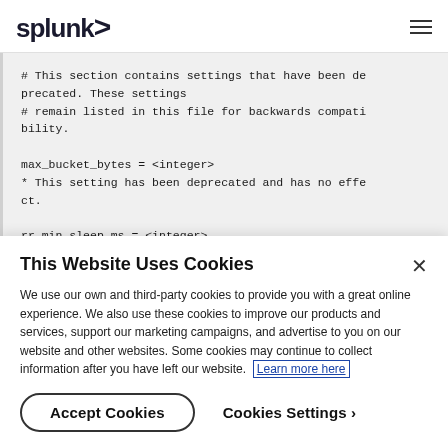splunk>
# This section contains settings that have been deprecated. These settings
# remain listed in this file for backwards compatibility.

max_bucket_bytes = <integer>
* This setting has been deprecated and has no effect.

rr_min_sleep_ms = <integer>
This Website Uses Cookies
We use our own and third-party cookies to provide you with a great online experience. We also use these cookies to improve our products and services, support our marketing campaigns, and advertise to you on our website and other websites. Some cookies may continue to collect information after you have left our website. Learn more here
Accept Cookies    Cookies Settings ›